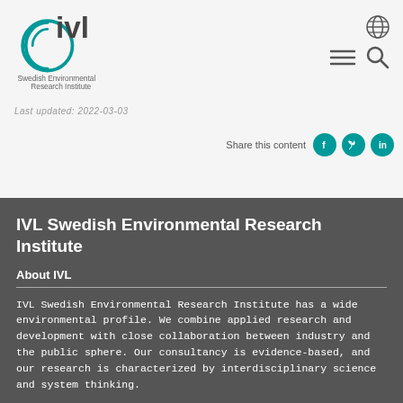[Figure (logo): IVL Swedish Environmental Research Institute logo — circular swirl with 'ivl' text and organization name below]
[Figure (infographic): Navigation icons: globe icon, hamburger menu icon, search icon]
Last updated: 2022-03-03
Share this content
[Figure (infographic): Social media sharing icons: Facebook, Twitter, LinkedIn (teal circles)]
IVL Swedish Environmental Research Institute
About IVL
IVL Swedish Environmental Research Institute has a wide environmental profile. We combine applied research and development with close collaboration between industry and the public sphere. Our consultancy is evidence-based, and our research is characterized by interdisciplinary science and system thinking.